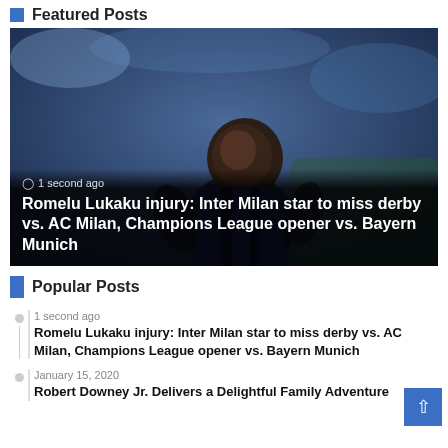Featured Posts
[Figure (photo): A football player (Romelu Lukaku) in a blue and black Inter Milan kit looking upward, celebrating or reacting, with blurred stadium background. Overlaid text shows '1 second ago' and headline about Lukaku injury.]
Romelu Lukaku injury: Inter Milan star to miss derby vs. AC Milan, Champions League opener vs. Bayern Munich
Popular Posts
1 second ago
Romelu Lukaku injury: Inter Milan star to miss derby vs. AC Milan, Champions League opener vs. Bayern Munich
January 15, 2020
Robert Downey Jr. Delivers a Delightful Family Adventure